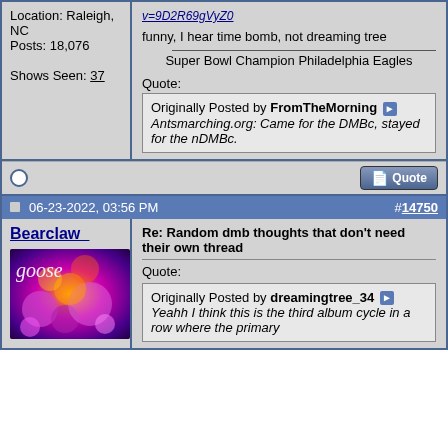Location: Raleigh, NC
Posts: 18,076
Shows Seen: 37
funny, I hear time bomb, not dreaming tree
Super Bowl Champion Philadelphia Eagles
Quote:
Originally Posted by FromTheMorning
Antsmarching.org: Came for the DMBc, stayed for the nDMBc.
06-23-2022, 03:56 PM
#14750
Bearclaw_
Re: Random dmb thoughts that don't need their own thread
Quote:
Originally Posted by dreamingtree_34
Yeahh I think this is the third album cycle in a row where the primary